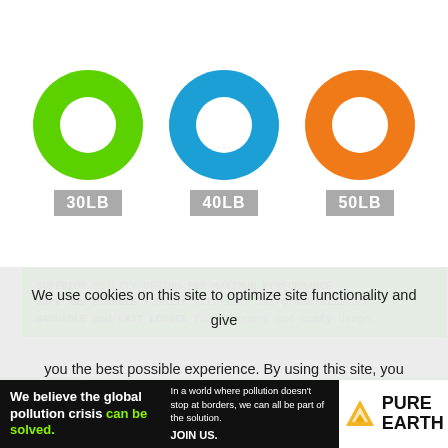[Figure (illustration): Three silicone hand grip rings shown side by side: green (30LB), blue (40LB), orange (50LB). Each ring is a donut shape with a hole in the center. Labels in gray boxes below each ring.]
SUPERIOR-QUALITY DESIGN FOR MAXIMUM PERFORMANCE
SAFE AND DURABLE – Built with 100% 1st-grade Silicone.
WASHABLE and LAST LONGER for frequent and comfy usage.
3 LEVELS FOR MORE NEED – It is from 30 to 50 lb.
The total finger strengthening workout for all fitness levels.
From beginner to advanced.
We use cookies on this site to optimize site functionality and give you the best possible experience. By using this site, you accept our use of cookies. Learn more
We believe the global pollution crisis can be solved.
In a world where pollution doesn't stop at borders, we can all be part of the solution.
JOIN US.
PURE EARTH